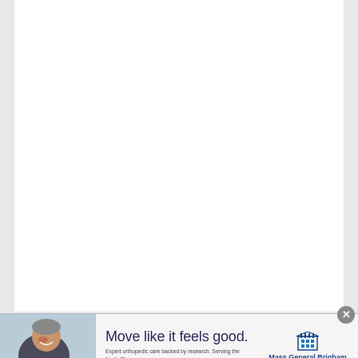[Figure (photo): Advertisement banner: A smiling older man exercising. Text reads 'Move like it feels good. Expert orthopedic care backed by research. Serving the North Shore. Learn more >' alongside Mass General Brigham Salem Hospital logo.]